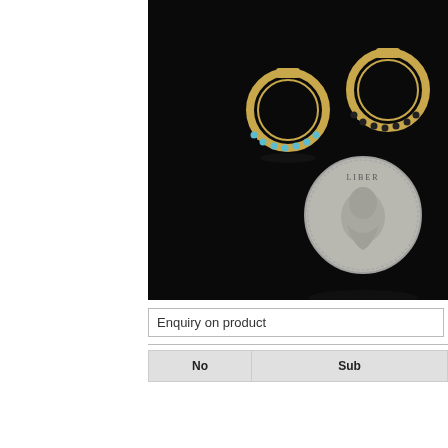[Figure (photo): Product photo on black background showing two gold hoop earrings with turquoise stones along the bottom arc, and a US quarter coin for size reference.]
Enquiry on product
| No | Sub |
| --- | --- |